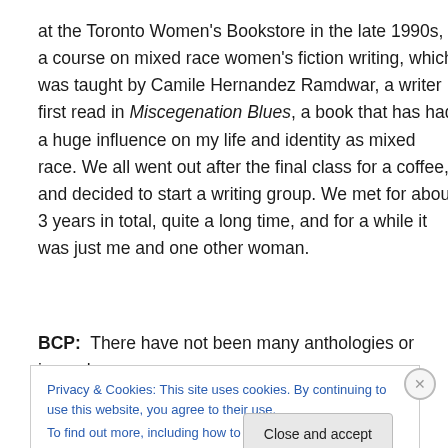at the Toronto Women's Bookstore in the late 1990s, a course on mixed race women's fiction writing, which was taught by Camile Hernandez Ramdwar, a writer I first read in Miscegenation Blues, a book that has had a huge influence on my life and identity as mixed race. We all went out after the final class for a coffee, and decided to start a writing group. We met for about 3 years in total, quite a long time, and for a while it was just me and one other woman.
BCP: There have not been many anthologies or journals
Privacy & Cookies: This site uses cookies. By continuing to use this website, you agree to their use.
To find out more, including how to control cookies, see here: Cookie Policy